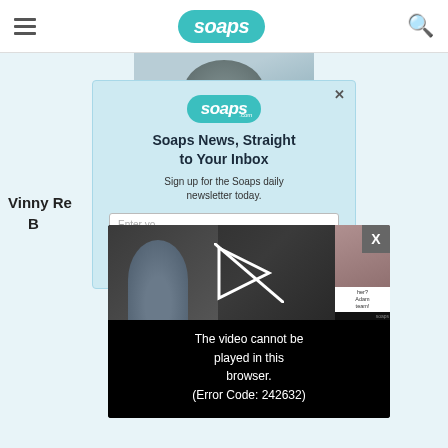soaps (navigation bar with hamburger menu and search icon)
[Figure (screenshot): Partial hero image of a person, clipped at top]
Tho... d and Saddened ...ny's Death
Vinny Re... B...
[Figure (screenshot): Newsletter signup popup overlay with soaps.com logo, headline 'Soaps News, Straight to Your Inbox', subtext 'Sign up for the Soaps daily newsletter today.', email input and submit button. X close button in top right.]
[Figure (screenshot): Video player overlay showing error message: 'The video cannot be played in this browser. (Error Code: 242632)' on black background, with X close button top right.]